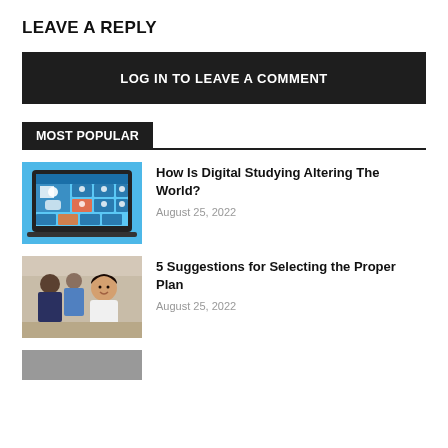LEAVE A REPLY
LOG IN TO LEAVE A COMMENT
MOST POPULAR
How Is Digital Studying Altering The World?
August 25, 2022
5 Suggestions for Selecting the Proper Plan
August 25, 2022